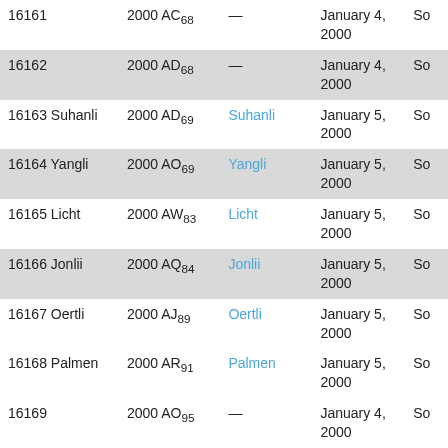| Number Name | Designation | Named after | Date | Discoverer |
| --- | --- | --- | --- | --- |
| 16161 | 2000 AC68 | — | January 4, 2000 | So... |
| 16162 | 2000 AD68 | — | January 4, 2000 | So... |
| 16163 Suhanli | 2000 AD69 | Suhanli | January 5, 2000 | So... |
| 16164 Yangli | 2000 AO69 | Yangli | January 5, 2000 | So... |
| 16165 Licht | 2000 AW83 | Licht | January 5, 2000 | So... |
| 16166 Jonlii | 2000 AQ84 | Jonlii | January 5, 2000 | So... |
| 16167 Oertli | 2000 AJ89 | Oertli | January 5, 2000 | So... |
| 16168 Palmen | 2000 AR91 | Palmen | January 5, 2000 | So... |
| 16169 | 2000 AO95 | — | January 4, 2000 | So... |
| 16170 | 2000 AS95 | — | January 4, 2000 | So... |
| 16171 | 2000 AD97 | — | January 4, 2000 | So... |
| 16172 | 2000 AZ97 | — | January 4, 2000 | So... |